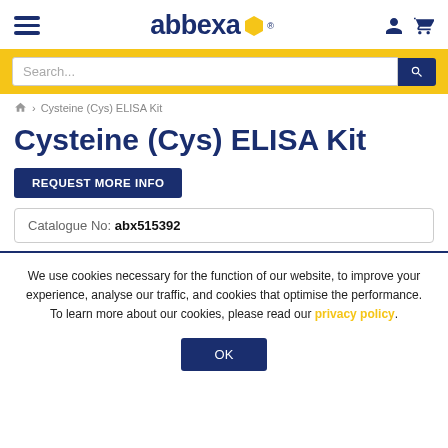abbexa
Search...
Home > Cysteine (Cys) ELISA Kit
Cysteine (Cys) ELISA Kit
REQUEST MORE INFO
Catalogue No: abx515392
We use cookies necessary for the function of our website, to improve your experience, analyse our traffic, and cookies that optimise the performance. To learn more about our cookies, please read our privacy policy.
OK